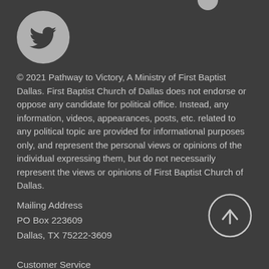[Figure (logo): Twitter bird icon inside a light gray circle]
[Figure (other): Partial gray circle visible at top right corner]
© 2021 Pathway to Victory, A Ministry of First Baptist Dallas. First Baptist Church of Dallas does not endorse or oppose any candidate for political office. Instead, any information, videos, appearances, posts, etc. related to any political topic are provided for informational purposes only, and represent the personal views or opinions of the individual expressing them, but do not necessarily represent the views or opinions of First Baptist Church of Dallas.
Mailing Address
PO Box 223609
Dallas, TX 75222-3609

Customer Service
214 969 2400
[Figure (other): Circle with upward arrow icon (scroll to top button)]